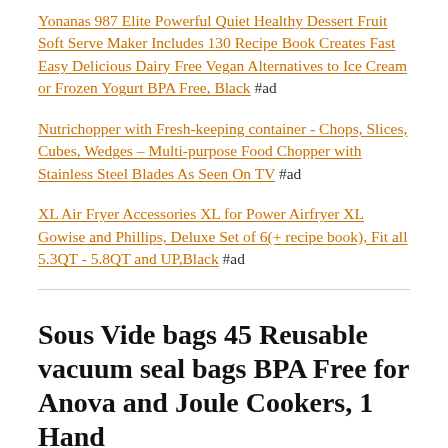Yonanas 987 Elite Powerful Quiet Healthy Dessert Fruit Soft Serve Maker Includes 130 Recipe Book Creates Fast Easy Delicious Dairy Free Vegan Alternatives to Ice Cream or Frozen Yogurt BPA Free, Black #ad
Nutrichopper with Fresh-keeping container - Chops, Slices, Cubes, Wedges – Multi-purpose Food Chopper with Stainless Steel Blades As Seen On TV #ad
XL Air Fryer Accessories XL for Power Airfryer XL Gowise and Phillips, Deluxe Set of 6(+ recipe book), Fit all 5.3QT - 5.8QT and UP,Black #ad
Sous Vide bags 45 Reusable vacuum seal bags BPA Free for Anova and Joule Cookers, 1 Hand